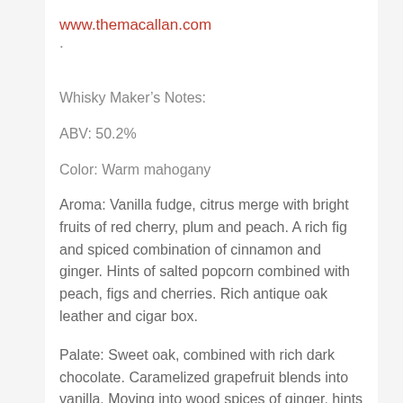www.themacallan.com.
Whisky Maker's Notes:
ABV: 50.2%
Color: Warm mahogany
Aroma: Vanilla fudge, citrus merge with bright fruits of red cherry, plum and peach. A rich fig and spiced combination of cinnamon and ginger. Hints of salted popcorn combined with peach, figs and cherries. Rich antique oak leather and cigar box.
Palate: Sweet oak, combined with rich dark chocolate. Caramelized grapefruit blends into vanilla. Moving into wood spices of ginger, hints of citrus and a light